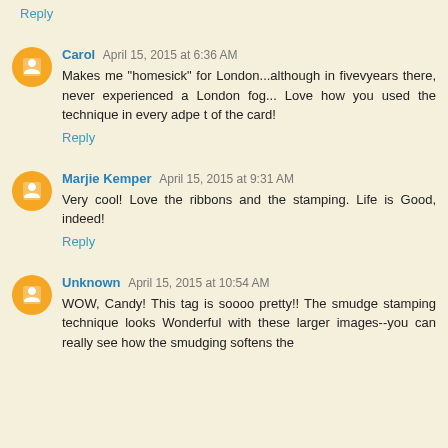Reply
Carol April 15, 2015 at 6:36 AM
Makes me "homesick" for London...although in fivevyears there, never experienced a London fog... Love how you used the technique in every adpe t of the card!
Reply
Marjie Kemper April 15, 2015 at 9:31 AM
Very cool! Love the ribbons and the stamping. Life is Good, indeed!
Reply
Unknown April 15, 2015 at 10:54 AM
WOW, Candy! This tag is soooo pretty!! The smudge stamping technique looks Wonderful with these larger images--you can really see how the smudging softens the